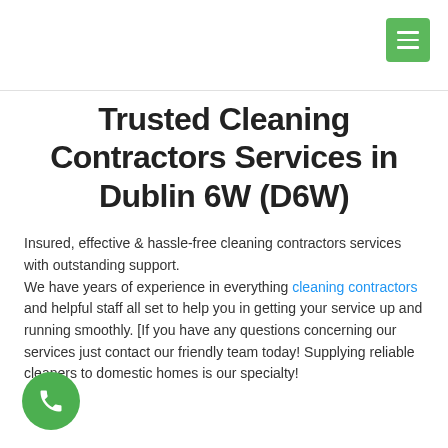Trusted Cleaning Contractors Services in Dublin 6W (D6W)
Insured, effective & hassle-free cleaning contractors services with outstanding support.
We have years of experience in everything cleaning contractors and helpful staff all set to help you in getting your service up and running smoothly. [If you have any questions concerning our services just contact our friendly team today! Supplying reliable cleaners to domestic homes is our specialty!